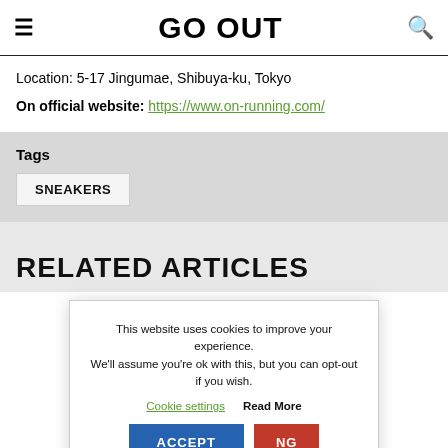GO OUT
Location: 5-17 Jingumae, Shibuya-ku, Tokyo
On official website: https://www.on-running.com/
Tags
SNEAKERS
This website uses cookies to improve your experience. We'll assume you're ok with this, but you can opt-out if you wish.
Cookie settings  Read More
ACCEPT  NG
RELATED ARTICLES